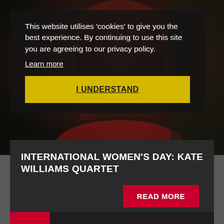[Figure (photo): Dark-toned background photo of a woman with red-tinted hair, partially obscured by a cookie consent overlay]
This website utilises 'cookies' to give you the best experience. By continuing to use this site you are agreeing to our privacy policy.
Learn more
I UNDERSTAND
INTERNATIONAL WOMEN'S DAY: KATE WILLIAMS QUARTET
READ MORE